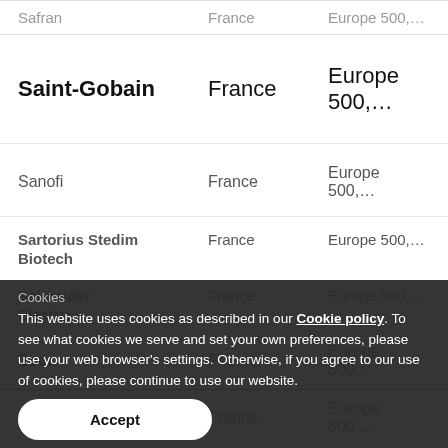| Company | Country | Index |
| --- | --- | --- |
| Saint-Gobain | France | Europe 500,… |
| Sanofi | France | Europe 500,… |
| Sartorius Stedim | France | Europe 500,… |
| Biotech |  |  |
| Schneider Electric | France | Europe 500,… |
| Scor | France | Europe 500,… |
| Société Générale | France | Europe 500,… |
Cookies
This website uses cookies as described in our Cookie policy. To see what cookies we serve and set your own preferences, please use your web browser's settings. Otherwise, if you agree to our use of cookies, please continue to use our website.